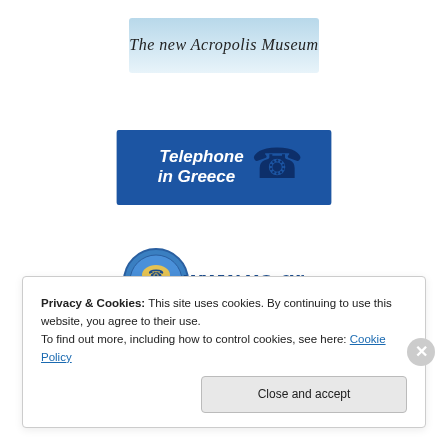[Figure (logo): The new Acropolis Museum logo - handwritten text on light blue/white banner background]
[Figure (logo): Telephone in Greece banner - blue background with white italic text and telephone icon]
[Figure (logo): www.xo.gr logo - circular icon with telephone and text]
[Figure (logo): 11888 directory service logo with mascot character]
Privacy & Cookies: This site uses cookies. By continuing to use this website, you agree to their use.
To find out more, including how to control cookies, see here: Cookie Policy
Close and accept